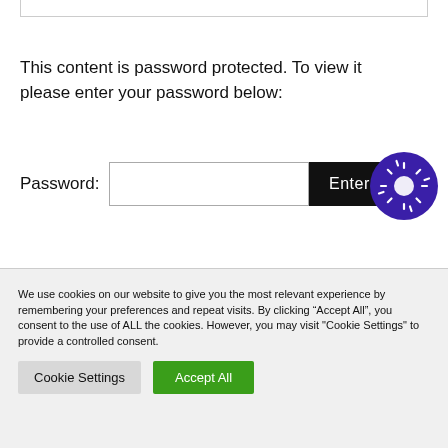This content is password protected. To view it please enter your password below:
Password: [input field] Enter
[Figure (logo): Purple circle logo with white sun/star icon in the center]
We use cookies on our website to give you the most relevant experience by remembering your preferences and repeat visits. By clicking “Accept All”, you consent to the use of ALL the cookies. However, you may visit "Cookie Settings" to provide a controlled consent.
Cookie Settings   Accept All